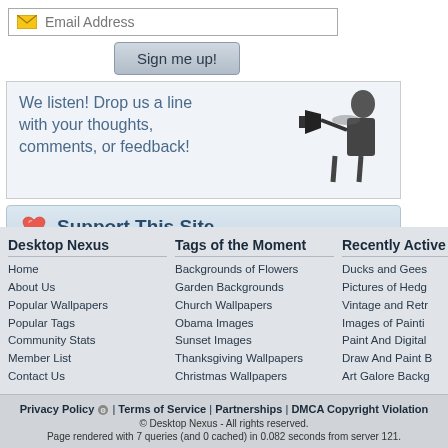[Figure (screenshot): Email address input field with envelope icon and placeholder text 'Email Address']
[Figure (screenshot): Sign me up! button with gray gradient styling]
We listen! Drop us a line with your thoughts, comments, or feedback!
[Figure (photo): Black and white photo of man with megaphone]
[Figure (screenshot): Support This Site button with heart icon]
Desktop Nexus
Home
About Us
Popular Wallpapers
Popular Tags
Community Stats
Member List
Contact Us
Tags of the Moment
Backgrounds of Flowers
Garden Backgrounds
Church Wallpapers
Obama Images
Sunset Images
Thanksgiving Wallpapers
Christmas Wallpapers
Recently Active
Ducks and Gees
Pictures of Hedg
Vintage and Retr
Images of Painti
Paint And Digital
Draw And Paint B
Art Galore Backg
Privacy Policy | Terms of Service | Partnerships | DMCA Copyright Violation
© Desktop Nexus - All rights reserved.
Page rendered with 7 queries (and 0 cached) in 0.082 seconds from server 121.